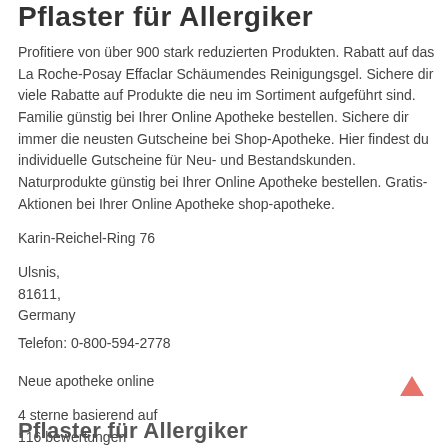Pflaster für Allergiker
Profitiere von über 900 stark reduzierten Produkten. Rabatt auf das La Roche-Posay Effaclar Schäumendes Reinigungsgel. Sichere dir viele Rabatte auf Produkte die neu im Sortiment aufgeführt sind. Familie günstig bei Ihrer Online Apotheke bestellen. Sichere dir immer die neusten Gutscheine bei Shop-Apotheke. Hier findest du individuelle Gutscheine für Neu- und Bestandskunden. Naturprodukte günstig bei Ihrer Online Apotheke bestellen. Gratis-Aktionen bei Ihrer Online Apotheke shop-apotheke.
Karin-Reichel-Ring 76
Ulsnis,
81611,
Germany
Telefon: 0-800-594-2778
Neue apotheke online
4 sterne basierend auf
116 bewertungen